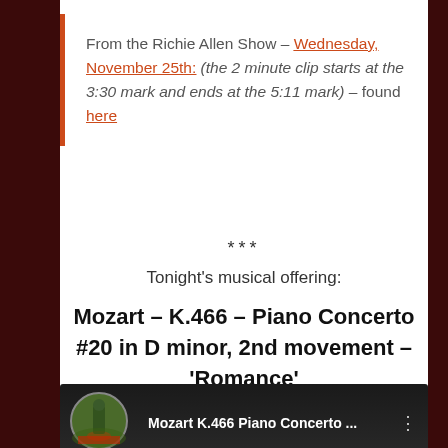From the Richie Allen Show – Wednesday, November 25th: (the 2 minute clip starts at the 3:30 mark and ends at the 5:11 mark) – found here
***
Tonight's musical offering:
Mozart – K.466 – Piano Concerto #20 in D minor, 2nd movement – 'Romance'
[Figure (screenshot): YouTube video thumbnail showing Mozart K.466 Piano Concerto with a statue avatar icon and three-dot menu]